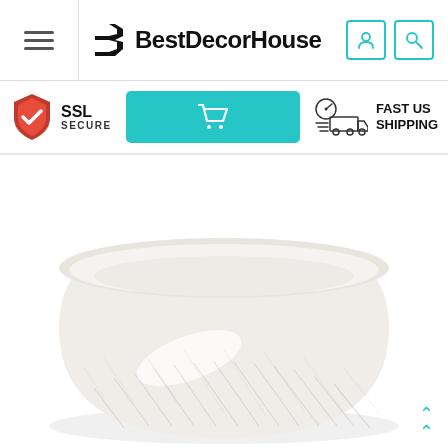BestDecorHouse
[Figure (screenshot): SSL Secure badge, teal shopping cart button, and Fast US Shipping badge in sub-header]
[Figure (photo): White ceramic bowl with textured diagonal pattern on exterior, viewed from slightly above at an angle, showing the bowl interior]